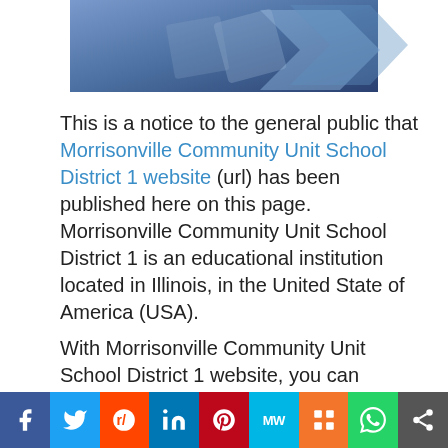[Figure (photo): Partial view of a school or computer-related image with blue geometric shapes on a dark blue background]
This is a notice to the general public that Morrisonville Community Unit School District 1 website (url) has been published here on this page. Morrisonville Community Unit School District 1 is an educational institution located in Illinois, in the United State of America (USA).
With Morrisonville Community Unit School District 1 website, you can access lots of information about Morrisonville Community Unit School District 1 including but not